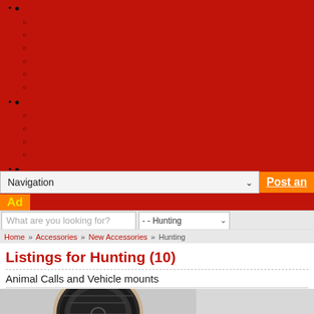[Figure (screenshot): Red navigation menu background with bullet points and sub-items (circles), partially visible website navigation]
[Figure (screenshot): Navigation dropdown bar with 'Navigation' dropdown and 'Post an Ad' orange button]
What are you looking for?
- - Hunting
Home » Accessories » New Accessories » Hunting
Listings for Hunting (10)
Animal Calls and Vehicle mounts
[Figure (photo): Partial photo of a circular black speaker or animal call device]